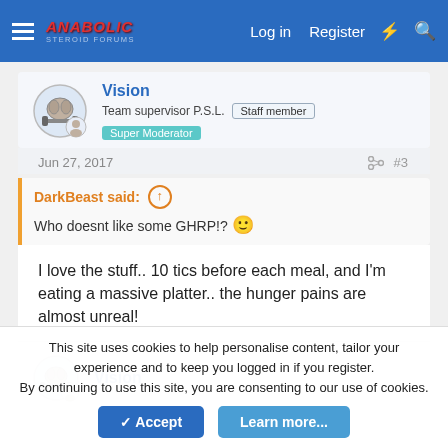Anabolic Steroid Forums — Log in  Register
Vision
Team supervisor P.S.L.  Staff member  Super Moderator
Jun 27, 2017  #3
DarkBeast said:
Who doesnt like some GHRP!? 🙂
I love the stuff.. 10 tics before each meal, and I'm eating a massive platter.. the hunger pains are almost unreal!
Vision
This site uses cookies to help personalise content, tailor your experience and to keep you logged in if you register.
By continuing to use this site, you are consenting to our use of cookies.
Accept  Learn more...